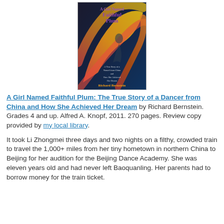[Figure (illustration): Book cover of 'A Girl Named Faithful Plum' by Richard Bernstein, showing a dancer with colorful ribbon swirls against a dark background, with the title in purple lettering and author name in gold at the bottom.]
A Girl Named Faithful Plum: The True Story of a Dancer from China and How She Achieved Her Dream by Richard Bernstein. Grades 4 and up. Alfred A. Knopf, 2011. 270 pages. Review copy provided by my local library.
It took Li Zhongmei three days and two nights on a filthy, crowded train to travel the 1,000+ miles from her tiny hometown in northern China to Beijing for her audition for the Beijing Dance Academy. She was eleven years old and had never left Baoquanling. Her parents had to borrow money for the train ticket.